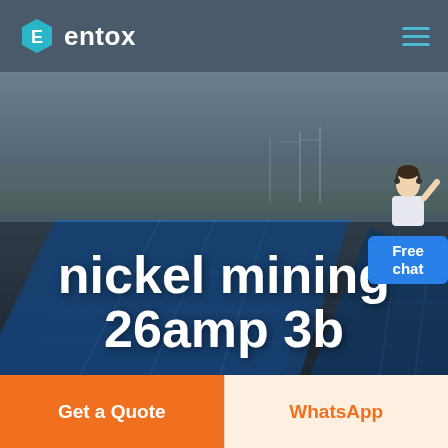[Figure (logo): Entox company logo with hexagon icon and white text]
[Figure (photo): Aerial view of industrial/mining facility with large blue roof panels, overlaid with bold white text 'nickel mining 26amp 3b'. A free chat widget with a person figure appears in the top-right corner.]
nickel mining 26amp 3b
Free chat
Get a Quote
WhatsApp